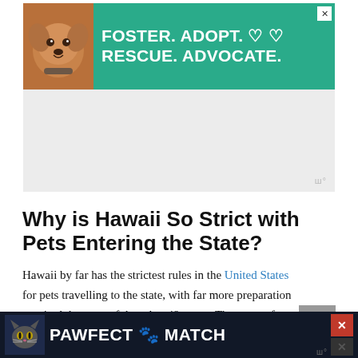[Figure (other): Green advertisement banner with a dog photo. Text reads: FOSTER. ADOPT. RESCUE. ADVOCATE. with heart icons.]
[Figure (other): Gray blank advertisement area with moat watermark in lower right.]
Why is Hawaii So Strict with Pets Entering the State?
Hawaii by far has the strictest rules in the United States for pets travelling to the state, with far more preparation required than any of the other 49 states. The reason for this is that Hawaii is rabies-free (like many island nations, such as Australia and New Zealand), and they w...
[Figure (other): PAWFECT MATCH dark advertisement banner at the bottom with a cat illustration. Includes close X button.]